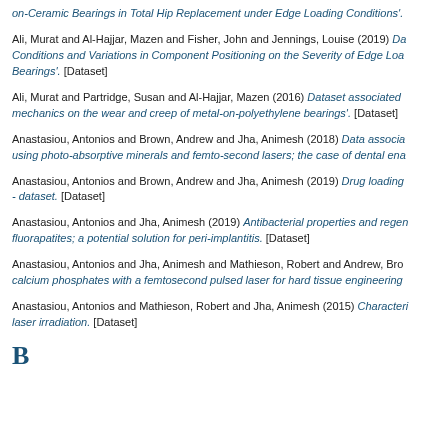on-Ceramic Bearings in Total Hip Replacement under Edge Loading Conditions'.
Ali, Murat and Al-Hajjar, Mazen and Fisher, John and Jennings, Louise (2019) Dataset... Conditions and Variations in Component Positioning on the Severity of Edge Loading... Bearings'. [Dataset]
Ali, Murat and Partridge, Susan and Al-Hajjar, Mazen (2016) Dataset associated ... mechanics on the wear and creep of metal-on-polyethylene bearings'. [Dataset]
Anastasiou, Antonios and Brown, Andrew and Jha, Animesh (2018) Data associated ... using photo-absorptive minerals and femto-second lasers; the case of dental enamel...
Anastasiou, Antonios and Brown, Andrew and Jha, Animesh (2019) Drug loading... - dataset. [Dataset]
Anastasiou, Antonios and Jha, Animesh (2019) Antibacterial properties and regenerative... fluorapatites; a potential solution for peri-implantitis. [Dataset]
Anastasiou, Antonios and Jha, Animesh and Mathieson, Robert and Andrew, Brown... calcium phosphates with a femtosecond pulsed laser for hard tissue engineering...
Anastasiou, Antonios and Mathieson, Robert and Jha, Animesh (2015) Characterization... laser irradiation. [Dataset]
B